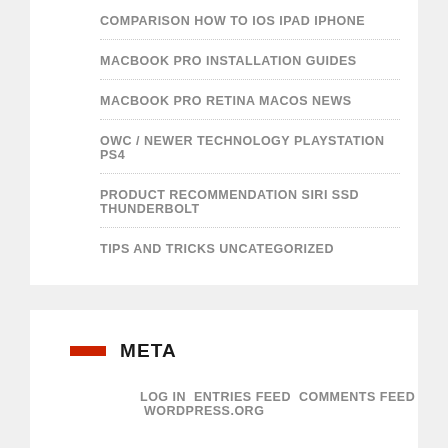COMPARISON HOW TO IOS IPAD IPHONE
MACBOOK PRO INSTALLATION GUIDES
MACBOOK PRO RETINA MACOS NEWS
OWC / NEWER TECHNOLOGY PLAYSTATION PS4
PRODUCT RECOMMENDATION SIRI SSD THUNDERBOLT
TIPS AND TRICKS UNCATEGORIZED
META
LOG IN ENTRIES FEED COMMENTS FEED WORDPRESS.ORG